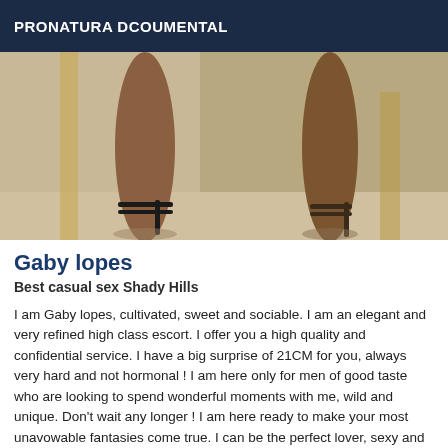PRONATURA DCOUMENTAL
[Figure (photo): Photo showing legs of a person wearing high heels, standing near marble or stone surfaces in what appears to be an indoor setting.]
Gaby lopes
Best casual sex Shady Hills
I am Gaby lopes, cultivated, sweet and sociable. I am an elegant and very refined high class escort. I offer you a high quality and confidential service. I have a big surprise of 21CM for you, always very hard and not hormonal ! I am here only for men of good taste who are looking to spend wonderful moments with me, wild and unique. Don't wait any longer ! I am here ready to make your most unavowable fantasies come true. I can be the perfect lover, sexy and bewitching... I can also be your